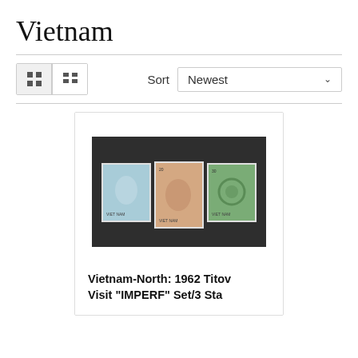Vietnam
Sort  Newest
[Figure (photo): Three Vietnam postage stamps arranged on a dark background: a blue stamp on the left, an orange/peach stamp in the middle, and a green stamp on the right.]
Vietnam-North: 1962 Titov Visit "IMPERF" Set/3 Sta